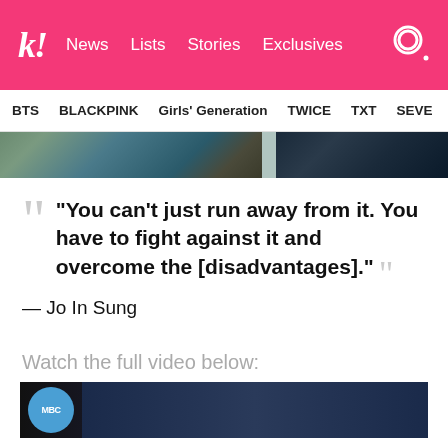K! News Lists Stories Exclusives
BTS BLACKPINK Girls' Generation TWICE TXT SEVE
[Figure (photo): Partial photo strip showing people in denim/casual clothing against teal background]
“You can’t just run away from it. You have to fight against it and overcome the [disadvantages].” — Jo In Sung
Watch the full video below:
[Figure (screenshot): Video thumbnail with MBC logo and dark background]